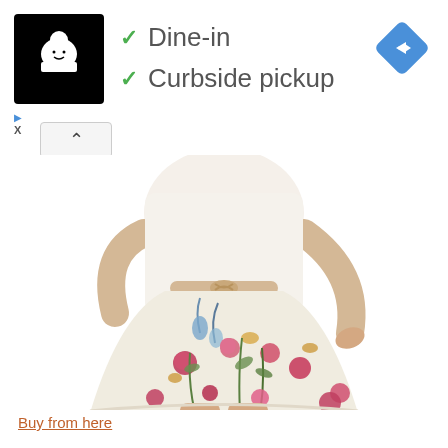[Figure (logo): Black square with white chef/cook cartoon icon]
✓ Dine-in
✓ Curbside pickup
[Figure (other): Blue diamond-shaped navigation/directions icon with white arrow pointing right]
▷
X
[Figure (other): Up caret button/chevron in a rounded rectangle]
[Figure (photo): A woman wearing a white blouse with a braided belt and a floral pleated mini skirt with colorful flower print, posing against a white background. Her head is cropped out of frame.]
Buy from here